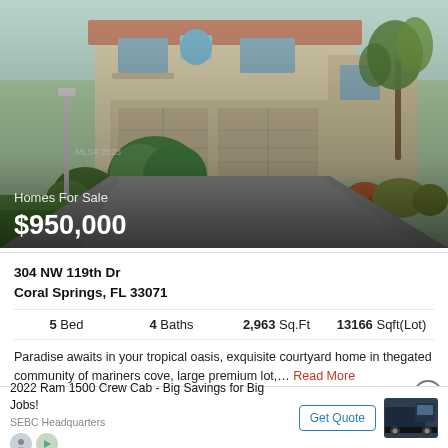[Figure (photo): Exterior photo of a two-story beige stucco home with two-car garage, lush tropical landscaping, palm trees, and a wide concrete driveway. Overlay text: Homes For Sale / $950,000]
304 NW 119th Dr
Coral Springs, FL 33071
5 Bed   4 Baths   2,963 Sq.Ft   13166 Sqft(Lot)
Paradise awaits in your tropical oasis, exquisite courtyard home in thegated community of mariners cove, large premium lot,… Read More
2022 Ram 1500 Crew Cab - Big Savings for Big Jobs!
SEBC Headquarters